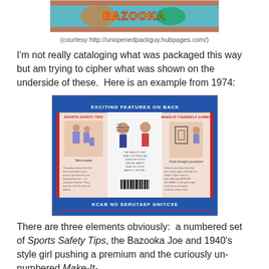[Figure (photo): Partial image of a colorful product package top, partially cropped at top of page]
(courtesy http://unopenedpackguy.hubpages.com/)
I'm not really cataloging what was packaged this way but am trying to cipher what was shown on the underside of these.  Here is an example from 1974:
[Figure (photo): 1974 Bazooka gum package back showing three sections: Sports Safety Tips on left with illustration of athletes and 'Take a break' text, center with Bazooka Joe and 1940s style girl characters with barcode, and Make-It-Yourself Games on right with 'Push through a punchout' illustration. Blue banner reads 'EXCITING FEATURES ON BACK' at top and reversed text at bottom.]
There are three elements obviously:  a numbered set of Sports Safety Tips, the Bazooka Joe and 1940's style girl pushing a premium and the curiously un-numbered Make-It-